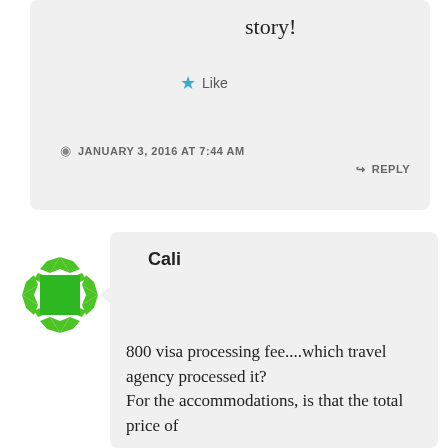story!
Like
JANUARY 3, 2016 AT 7:44 AM
REPLY
[Figure (illustration): Green decorative avatar icon with geometric diamond pattern border]
Cali
800 visa processing fee....which travel agency processed it?
For the accommodations, is that the total price of